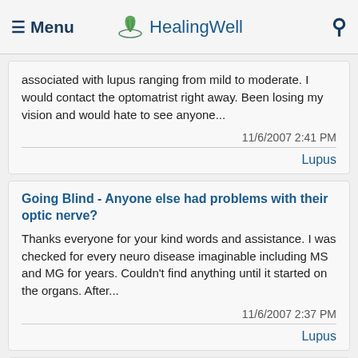Menu | HealingWell
associated with lupus ranging from mild to moderate. I would contact the optomatrist right away. Been losing my vision and would hate to see anyone...
11/6/2007 2:41 PM
Lupus
Going Blind - Anyone else had problems with their optic nerve?
Thanks everyone for your kind words and assistance. I was checked for every neuro disease imaginable including MS and MG for years. Couldn't find anything until it started on the organs. After...
11/6/2007 2:37 PM
Lupus
Are these normal aches and pains for Lupus or